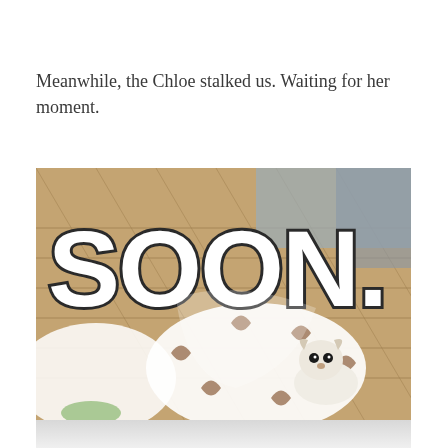Meanwhile, the Chloe stalked us. Waiting for her moment.
[Figure (photo): A photo of a small white dog (Chloe) lying on a decorative white and brown rug on a wood floor, looking up at the camera. Overlaid in large white bold letters with dark outline is the word 'SOON.' — a classic internet meme format. The scene appears to be a kitchen or dining area shot from above.]